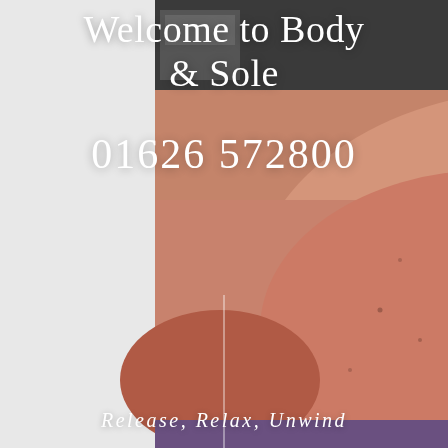[Figure (photo): Close-up photo of a person receiving a back massage, showing hands on the person's back. There is a vertical white line element and a white dot overlaid on the image. Background shows some shelving or equipment.]
Welcome to Body & Sole
01626 572800
Release, Relax, Unwind